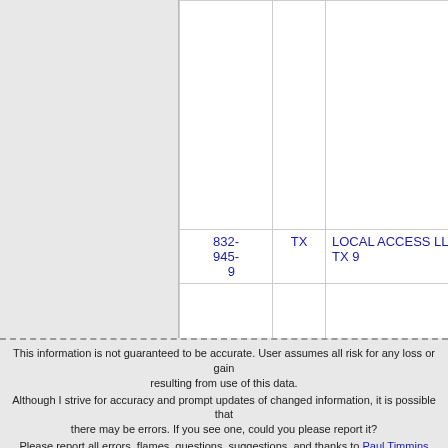| Phone | State | Carrier |
| --- | --- | --- |
| 832-945-9 | TX | LOCAL ACCESS LLC - TX 9 |
This information is not guaranteed to be accurate. User assumes all risk for any loss or gain resulting from use of this data. Although I strive for accuracy and prompt updates of changed information, it is possible that there may be errors. If you see one, could you please report it? Please report all errors, flames, questions, suggestions, and thanks to Paul Timmins Please see the Frequently Asked Questions page if you have any questions. Copyright ©2001-2021, Paul Timmins/Timmins Technologies, LLC. All rights reserved Website Design and User Interface ©2010, Adam Botbyl/Revolutionary Solutions, LLC. Colocation generously provided by Clear Rate Communications, Inc